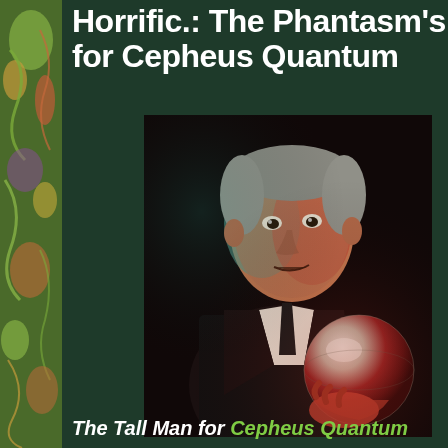Horrific.: The Phantasm's P... for Cepheus Quantum
[Figure (photo): A man (the Tall Man character from Phantasm) in a dark suit holding a silver metallic sphere, lit dramatically with red and teal lighting against a black background]
The Tall Man for Cepheus Quantum